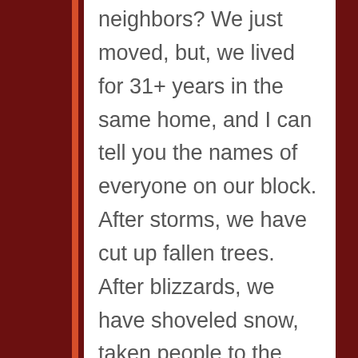neighbors? We just moved, but, we lived for 31+ years in the same home, and I can tell you the names of everyone on our block. After storms, we have cut up fallen trees. After blizzards, we have shoveled snow, taken people to the pharmacy in 15+ inch snow (and twice that of drifts). My